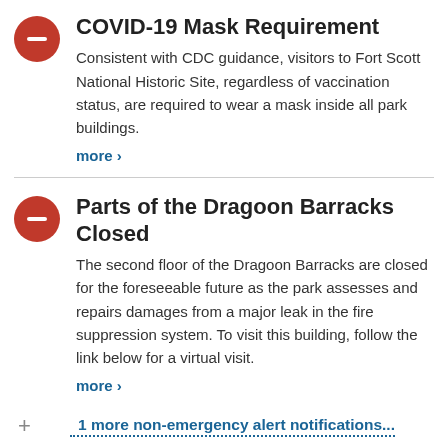COVID-19 Mask Requirement
Consistent with CDC guidance, visitors to Fort Scott National Historic Site, regardless of vaccination status, are required to wear a mask inside all park buildings.
more ›
Parts of the Dragoon Barracks Closed
The second floor of the Dragoon Barracks are closed for the foreseeable future as the park assesses and repairs damages from a major leak in the fire suppression system. To visit this building, follow the link below for a virtual visit.
more ›
1 more non-emergency alert notifications...